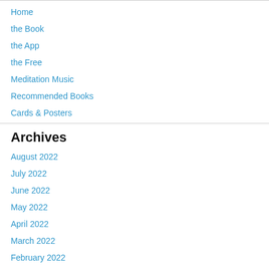Home
the Book
the App
the Free
Meditation Music
Recommended Books
Cards & Posters
Archives
August 2022
July 2022
June 2022
May 2022
April 2022
March 2022
February 2022
January 2022